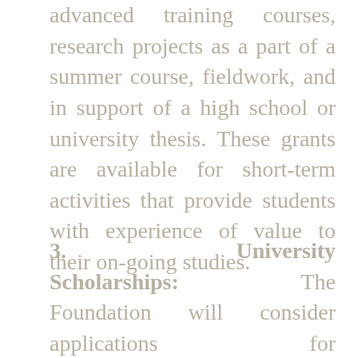advanced training courses, research projects as a part of a summer course, fieldwork, and in support of a high school or university thesis. These grants are available for short-term activities that provide students with experience of value to their on-going studies.
3. University Scholarships: The Foundation will consider applications for scholarships for periods of several months to one year. These grants will be